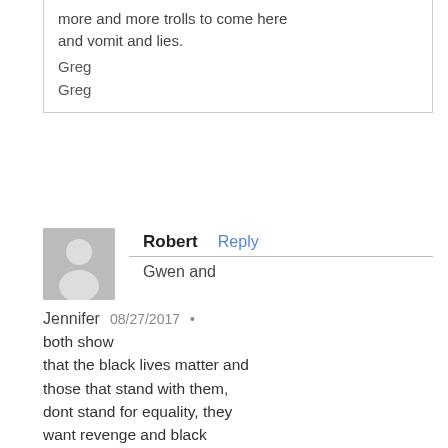more and more trolls to come here and vomit and lies.
Greg
Greg
Robert  Reply
Gwen and
Jennifer  08/27/2017 •
both show that the black lives matter and those that stand with them, dont stand for equality, they want revenge and black supremacy. Equality isnt the issue. They want revenge, violent revenge. I don't believe all black citizens feel this way though. Just the snowflakes that follow the likes of Tanesi